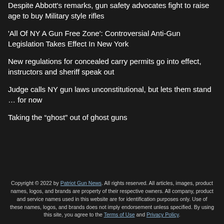Despite Abbott's remarks, gun safety advocates fight to raise age to buy Military style rifles
'All Of NY A Gun Free Zone': Controversial Anti-Gun Legislation Takes Effect In New York
New regulations for concealed carry permits go into effect, instructors and sheriff speak out
Judge calls NY gun laws unconstitutional, but lets them stand … for now
Taking the “ghost” out of ghost guns
Copyright © 2022 by Patriot Gun News. All rights reserved. All articles, images, product names, logos, and brands are property of their respective owners. All company, product and service names used in this website are for identification purposes only. Use of these names, logos, and brands does not imply endorsement unless specified. By using this site, you agree to the Terms of Use and Privacy Policy.